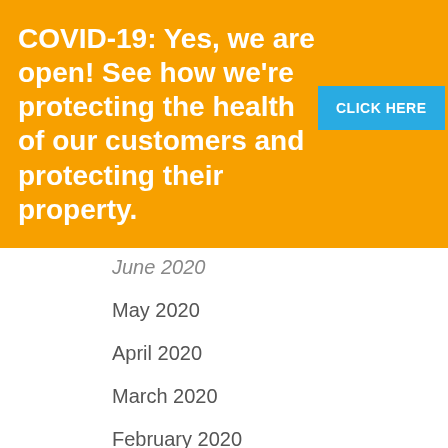COVID-19: Yes, we are open! See how we're protecting the health of our customers and protecting their property.
June 2020
May 2020
April 2020
March 2020
February 2020
January 2020
December 2019
November 2019